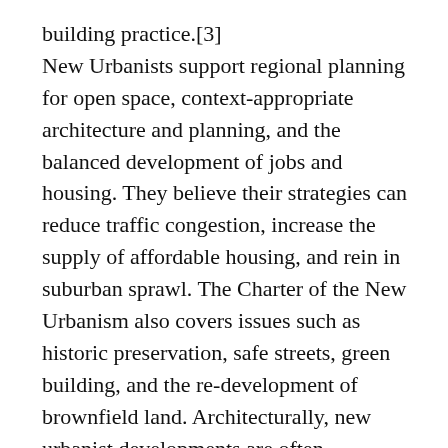building practice.[3] New Urbanists support regional planning for open space, context-appropriate architecture and planning, and the balanced development of jobs and housing. They believe their strategies can reduce traffic congestion, increase the supply of affordable housing, and rein in suburban sprawl. The Charter of the New Urbanism also covers issues such as historic preservation, safe streets, green building, and the re-development of brownfield land. Architecturally, new urbanist developments are often accompanied by New Classical, postmodern or vernacular styles, while that is not always the case.